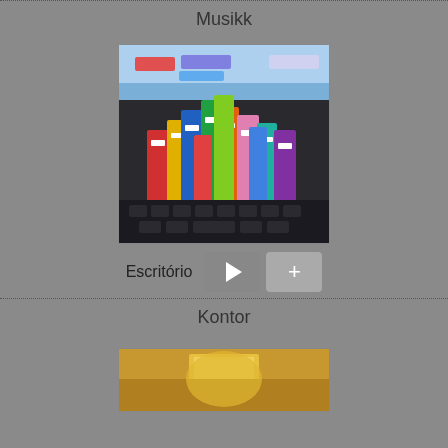Musikk
[Figure (photo): Photo of colorful ring binders stacked on a laptop keyboard]
Escritório
[Figure (other): Play button (triangle) and plus button]
Kontor
[Figure (photo): Partial photo showing what appears to be a glass of juice or drink]